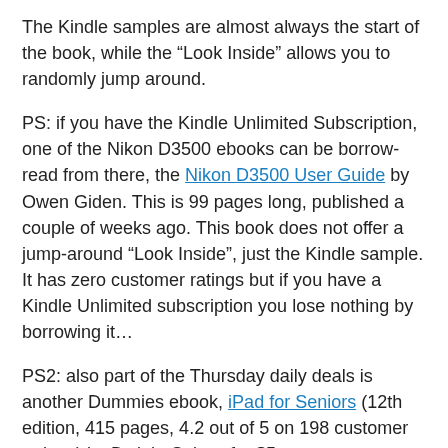The Kindle samples are almost always the start of the book, while the "Look Inside" allows you to randomly jump around.
PS: if you have the Kindle Unlimited Subscription, one of the Nikon D3500 ebooks can be borrow-read from there, the Nikon D3500 User Guide by Owen Giden. This is 99 pages long, published a couple of weeks ago. This book does not offer a jump-around "Look Inside", just the Kindle sample. It has zero customer ratings but if you have a Kindle Unlimited subscription you lose nothing by borrowing it…
PS2: also part of the Thursday daily deals is another Dummies ebook, iPad for Seniors (12th edition, 415 pages, 4.2 out of 5 on 198 customer ratings) by Dwight Spivey for $5.
PS3: speaking of the D3500, the Neewer Battery Grip for select Nikon D3X00 and D5X00 APS-C dSLRs is on sale for $25 (4.6 out of 5 based on 1228 customer ratings as